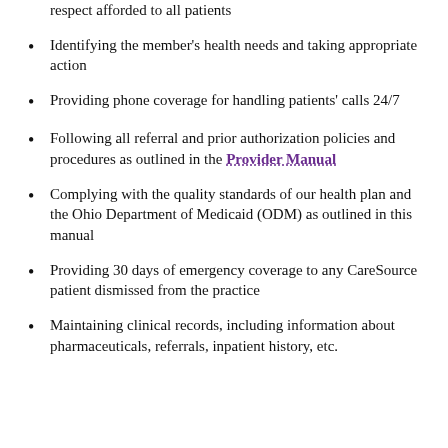respect afforded to all patients
Identifying the member's health needs and taking appropriate action
Providing phone coverage for handling patients' calls 24/7
Following all referral and prior authorization policies and procedures as outlined in the Provider Manual
Complying with the quality standards of our health plan and the Ohio Department of Medicaid (ODM) as outlined in this manual
Providing 30 days of emergency coverage to any CareSource patient dismissed from the practice
Maintaining clinical records, including information about pharmaceuticals, referrals, inpatient history, etc.